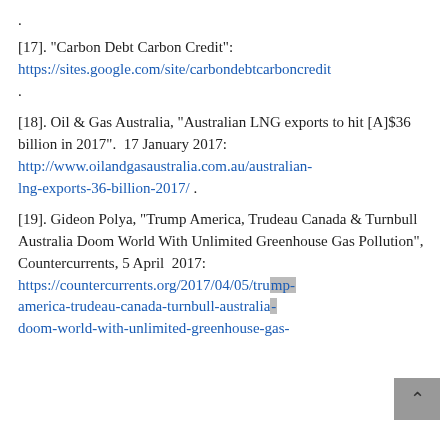.
[17]. “Carbon Debt Carbon Credit”: https://sites.google.com/site/carbondebtcarboncredit .
[18]. Oil & Gas Australia, “Australian LNG exports to hit [A]$36 billion in 2017”. 17 January 2017: http://www.oilandgasaustralia.com.au/australian-lng-exports-36-billion-2017/ .
[19]. Gideon Polya, “Trump America, Trudeau Canada & Turnbull Australia Doom World With Unlimited Greenhouse Gas Pollution”, Countercurrents, 5 April 2017: https://countercurrents.org/2017/04/05/trump-america-trudeau-canada-turnbull-australia-doom-world-with-unlimited-greenhouse-gas-